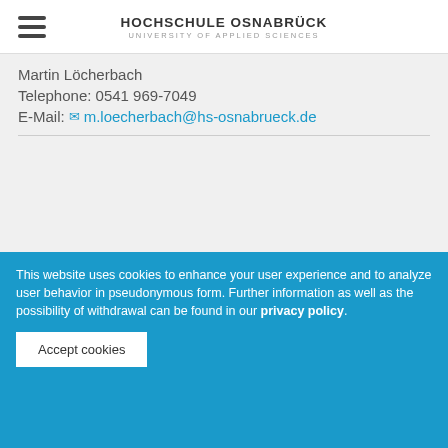HOCHSCHULE OSNABRÜCK UNIVERSITY OF APPLIED SCIENCES
Martin Löcherbach
Telephone: 0541 969-7049
E-Mail: m.loecherbach@hs-osnabrueck.de
TO THE TOP OF THE PAGE
This website uses cookies to enhance your user experience and to analyze user behavior in pseudonymous form. Further information as well as the possibility of withdrawal can be found in our privacy policy.
Accept cookies